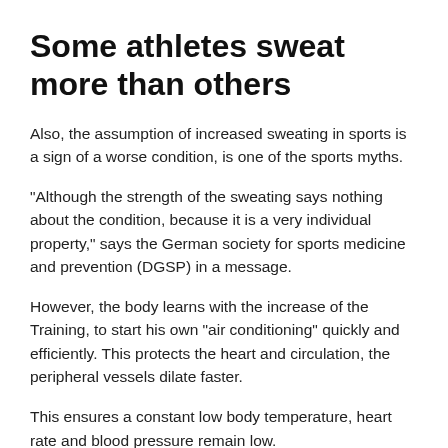Some athletes sweat more than others
Also, the assumption of increased sweating in sports is a sign of a worse condition, is one of the sports myths.
“Although the strength of the sweating says nothing about the condition, because it is a very individual property,” says the German society for sports medicine and prevention (DGSP) in a message.
However, the body learns with the increase of the Training, to start his own “air conditioning” quickly and efficiently. This protects the heart and circulation, the peripheral vessels dilate faster.
This ensures a constant low body temperature, heart rate and blood pressure remain low.